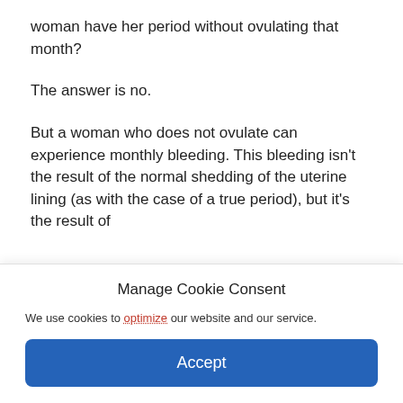woman have her period without ovulating that month?
The answer is no.
But a woman who does not ovulate can experience monthly bleeding. This bleeding isn't the result of the normal shedding of the uterine lining (as with the case of a true period), but it's the result of
Manage Cookie Consent
We use cookies to optimize our website and our service.
Accept